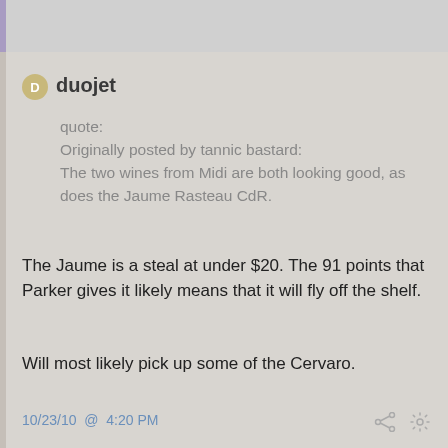duojet
quote:
Originally posted by tannic bastard:
The two wines from Midi are both looking good, as does the Jaume Rasteau CdR.
The Jaume is a steal at under $20. The 91 points that Parker gives it likely means that it will fly off the shelf.
Will most likely pick up some of the Cervaro.
10/23/10 @ 4:20 PM